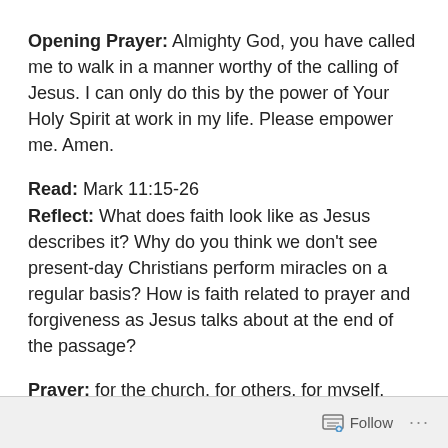Opening Prayer: Almighty God, you have called me to walk in a manner worthy of the calling of Jesus. I can only do this by the power of Your Holy Spirit at work in my life. Please empower me. Amen.
Read: Mark 11:15-26
Reflect: What does faith look like as Jesus describes it? Why do you think we don't see present-day Christians perform miracles on a regular basis? How is faith related to prayer and forgiveness as Jesus talks about at the end of the passage?
Prayer: for the church, for others, for myself.
Hymn: “This is My Father’s World”
Follow …